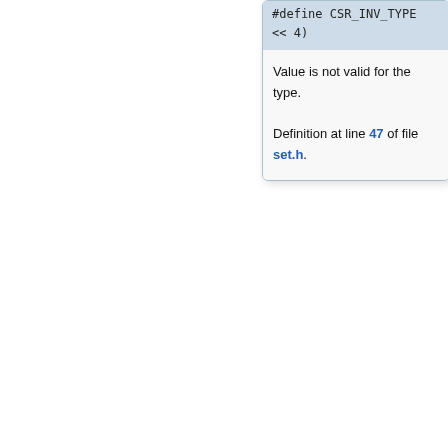#define CSR_INV_TYPE << 4)
Value is not valid for the type. Definition at line 47 of file set.h.
◆ CSR_INV_VALIDATOR
#define CSR_INV_VALIDATOR   (1 << 5)
Value was rejected by the validator.